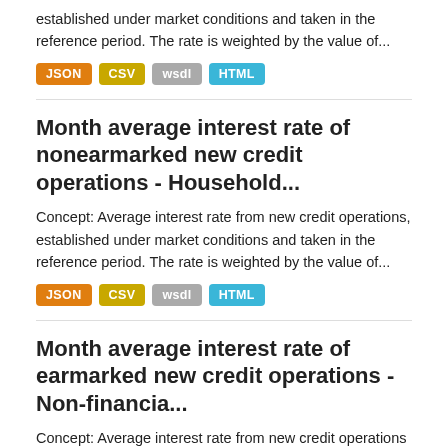established under market conditions and taken in the reference period. The rate is weighted by the value of...
JSON CSV wsdl HTML
Month average interest rate of nonearmarked new credit operations - Household...
Concept: Average interest rate from new credit operations, established under market conditions and taken in the reference period. The rate is weighted by the value of...
JSON CSV wsdl HTML
Month average interest rate of earmarked new credit operations - Non-financia...
Concept: Average interest rate from new credit operations started in the reference period, which are under regulation by the National Monetary Council (CMN) or linked to budget...
JSON CSV wsdl HTML